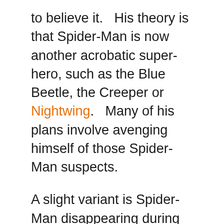to believe it.   His theory is that Spider-Man is now another acrobatic super-hero, such as the Blue Beetle, the Creeper or Nightwing.   Many of his plans involve avenging himself of those Spider-Man suspects.
A slight variant is Spider-Man disappearing during Crisis, and only Doctor Octopus remembering that he existed as he was present at the moment of Spidey's death.
For a non-Spidey DCU History, his nemesis might have been Hawk and Dove, with